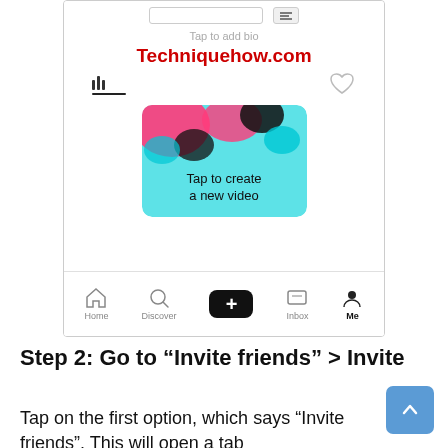[Figure (screenshot): TikTok app profile screen screenshot showing 'Tap to add bio', Techniquehow.com watermark, tab bar with icons, a 'Tap to create a new video' card, and bottom navigation bar with Home, Discover, +, Inbox, Me tabs.]
Step 2: Go to “Invite friends” > Invite
Tap on the first option, which says “Invite friends”. This will open a tab